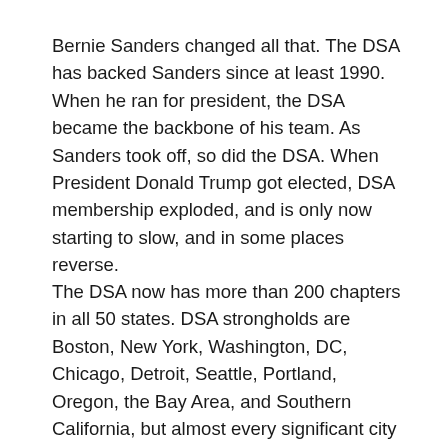Bernie Sanders changed all that. The DSA has backed Sanders since at least 1990. When he ran for president, the DSA became the backbone of his team. As Sanders took off, so did the DSA. When President Donald Trump got elected, DSA membership exploded, and is only now starting to slow, and in some places reverse.
The DSA now has more than 200 chapters in all 50 states. DSA strongholds are Boston, New York, Washington, DC, Chicago, Detroit, Seattle, Portland, Oregon, the Bay Area, and Southern California, but almost every significant city in